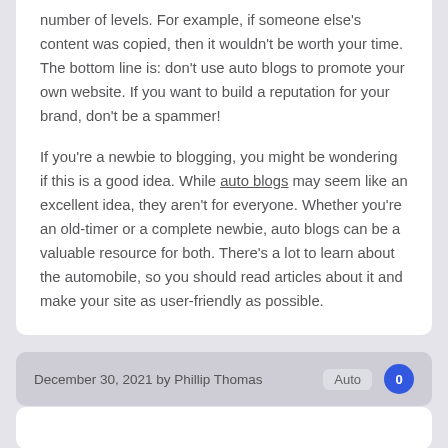number of levels. For example, if someone else's content was copied, then it wouldn't be worth your time. The bottom line is: don't use auto blogs to promote your own website. If you want to build a reputation for your brand, don't be a spammer! If you're a newbie to blogging, you might be wondering if this is a good idea. While auto blogs may seem like an excellent idea, they aren't for everyone. Whether you're an old-timer or a complete newbie, auto blogs can be a valuable resource for both. There's a lot to learn about the automobile, so you should read articles about it and make your site as user-friendly as possible.
December 30, 2021 by Phillip Thomas  Auto  0